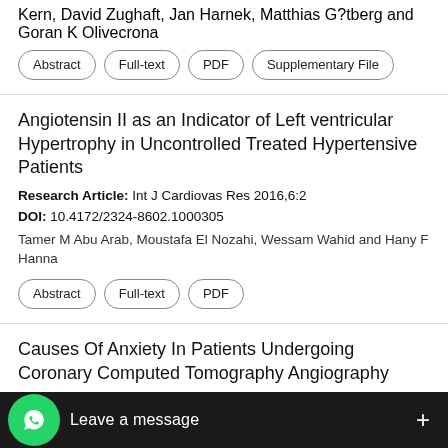Kern, David Zughaft, Jan Harnek, Matthias G?tberg and Goran K Olivecrona
Abstract | Full-text | PDF | Supplementary File
Angiotensin II as an Indicator of Left ventricular Hypertrophy in Uncontrolled Treated Hypertensive Patients
Research Article: Int J Cardiovas Res 2016,6:2
DOI: 10.4172/2324-8602.1000305
Tamer M Abu Arab, Moustafa El Nozahi, Wessam Wahid and Hany F Hanna
Abstract | Full-text | PDF
Causes Of Anxiety In Patients Undergoing Coronary Computed Tomography Angiography
Research Article: Int J Cardiovas Res 2017,6:1
DOI: 10.4172/2324-8602.1000298
Simon Davies, Annelieke M Roes, Jan Pfister, Alexander C. Bund
[Figure (screenshot): WhatsApp overlay bar with green phone icon, 'Leave a message' text and plus button on dark background]